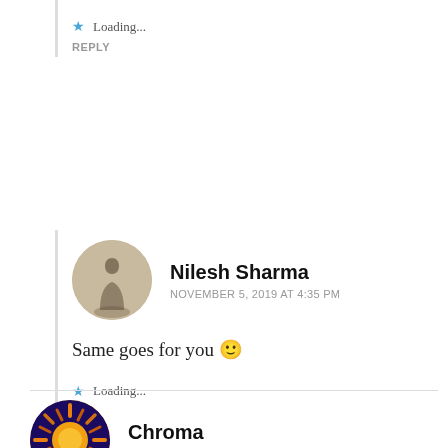Loading...
REPLY
Nilesh Sharma
NOVEMBER 5, 2019 AT 4:35 PM
Same goes for you 🙂
Loading...
Chroma
NOVEMBER 4, 2019 AT 8:09 PM
the depth of color in that glaze is unreall beautiful